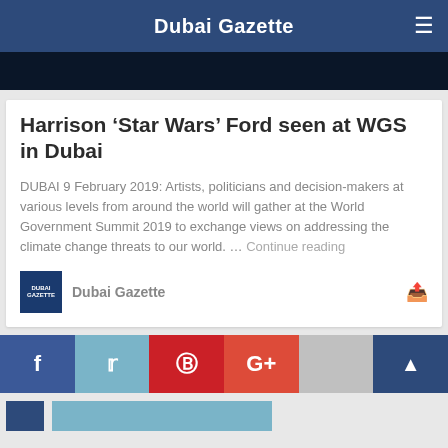Dubai Gazette
Harrison ‘Star Wars’ Ford seen at WGS in Dubai
DUBAI 9 February 2019: Artists, politicians and decision-makers at various levels from around the world will gather at the World Government Summit 2019 to exchange views on addressing the climate change threats to our world. … Continue reading
Dubai Gazette